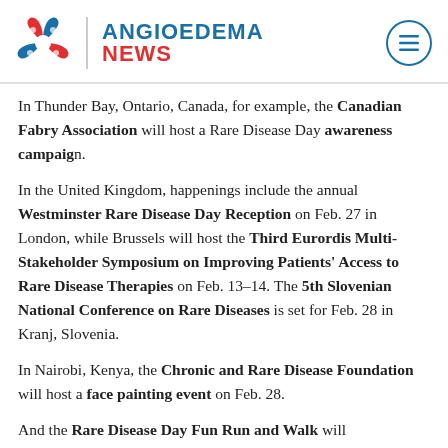ANGIOEDEMA NEWS
In Thunder Bay, Ontario, Canada, for example, the Canadian Fabry Association will host a Rare Disease Day awareness campaign.
In the United Kingdom, happenings include the annual Westminster Rare Disease Day Reception on Feb. 27 in London, while Brussels will host the Third Eurordis Multi-Stakeholder Symposium on Improving Patients' Access to Rare Disease Therapies on Feb. 13–14. The 5th Slovenian National Conference on Rare Diseases is set for Feb. 28 in Kranj, Slovenia.
In Nairobi, Kenya, the Chronic and Rare Disease Foundation will host a face painting event on Feb. 28.
And the Rare Disease Day Fun Run and Walk will